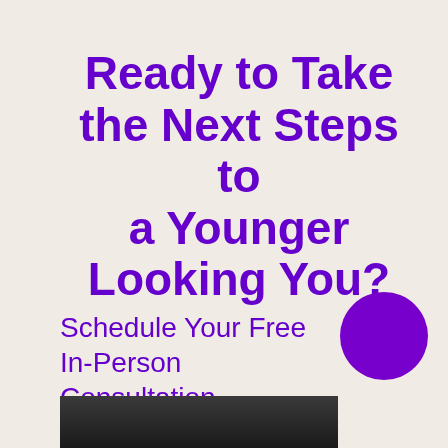Ready to Take the Next Steps to a Younger Looking You?
Schedule Your Free In-Person Consultation
[Figure (other): Purple circle button/icon in bottom right area]
[Figure (photo): Partial photo strip at bottom showing dark image, people or nature scene]